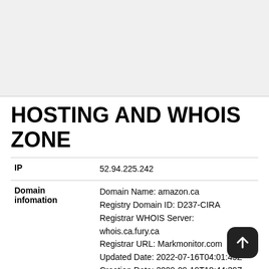[Figure (other): Top image/advertisement area with grey background]
HOSTING AND WHOIS ZONE
| Label | Value |
| --- | --- |
| IP | 52.94.225.242 |
| Domain infomation | Domain Name: amazon.ca
Registry Domain ID: D237-CIRA
Registrar WHOIS Server: whois.ca.fury.ca
Registrar URL: Markmonitor.com
Updated Date: 2022-07-16T04:01:45Z
Creation Date: 2000-09-19T18:44:39Z
Registry Expiry Date: 2024-07-16T04:00:0...
Registrar: MarkMonitor International Canada Ltd.
Registrar IANA ID: not applicable |